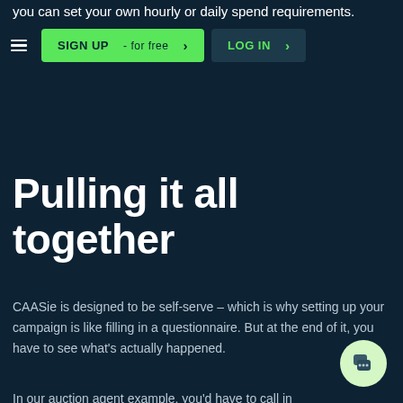you can set your own hourly or daily spend requirements.
SIGN UP - for free > LOG IN >
Pulling it all together
CAASie is designed to be self-serve – which is why setting up your campaign is like filling in a questionnaire. But at the end of it, you have to see what's actually happened.
In our auction agent example, you'd have to call in